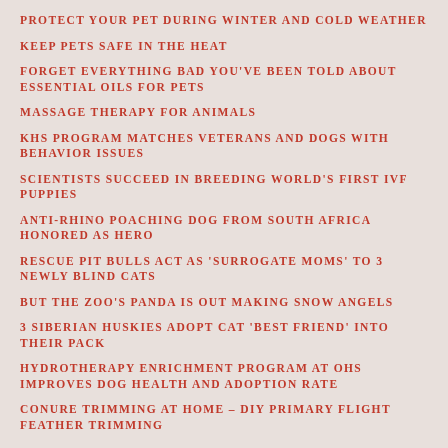PROTECT YOUR PET DURING WINTER AND COLD WEATHER
KEEP PETS SAFE IN THE HEAT
FORGET EVERYTHING BAD YOU'VE BEEN TOLD ABOUT ESSENTIAL OILS FOR PETS
MASSAGE THERAPY FOR ANIMALS
KHS PROGRAM MATCHES VETERANS AND DOGS WITH BEHAVIOR ISSUES
SCIENTISTS SUCCEED IN BREEDING WORLD'S FIRST IVF PUPPIES
ANTI-RHINO POACHING DOG FROM SOUTH AFRICA HONORED AS HERO
RESCUE PIT BULLS ACT AS 'SURROGATE MOMS' TO 3 NEWLY BLIND CATS
BUT THE ZOO'S PANDA IS OUT MAKING SNOW ANGELS
3 SIBERIAN HUSKIES ADOPT CAT 'BEST FRIEND' INTO THEIR PACK
HYDROTHERAPY ENRICHMENT PROGRAM AT OHS IMPROVES DOG HEALTH AND ADOPTION RATE
CONURE TRIMMING AT HOME – DIY PRIMARY FLIGHT FEATHER TRIMMING